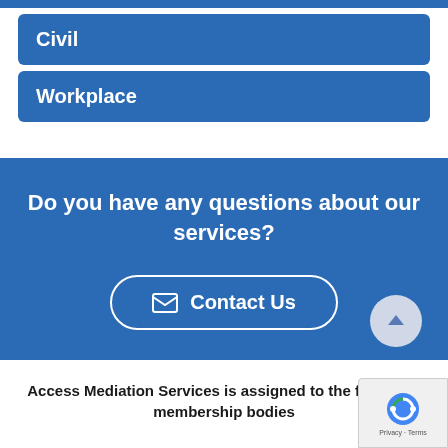Civil
Workplace
Do you have any questions about our services?
Contact Us
Access Mediation Services is assigned to the following membership bodies